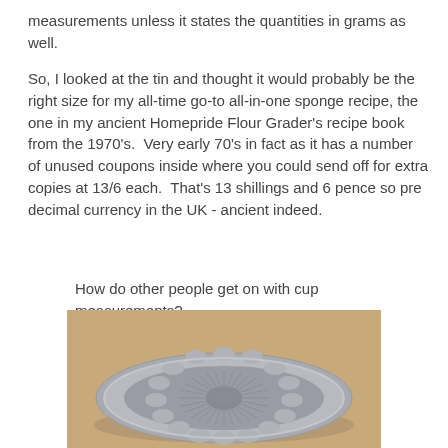measurements unless it states the quantities in grams as well.
So, I looked at the tin and thought it would probably be the right size for my all-time go-to all-in-one sponge recipe, the one in my ancient Homepride Flour Grader's recipe book from the 1970's.  Very early 70's in fact as it has a number of unused coupons inside where you could send off for extra copies at 13/6 each.  That's 13 shillings and 6 pence so pre decimal currency in the UK - ancient indeed.
How do other people get on with cup measurements?
[Figure (photo): A silver/grey fluted round baking tin viewed from above, sitting on a light wooden surface. The tin has a sunburst/star pattern on the base and scalloped edges.]